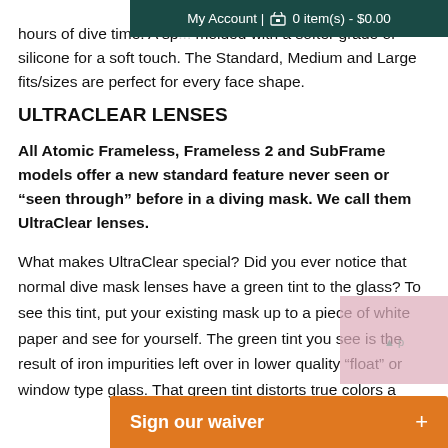My Account | 🛒 0 item(s) - $0.00
hours of dive time. A sp... molded with a softer grade of silicone for a soft touch. The Standard, Medium and Large fits/sizes are perfect for every face shape.
ULTRACLEAR LENSES
All Atomic Frameless, Frameless 2 and SubFrame models offer a new standard feature never seen or "seen through" before in a diving mask. We call them UltraClear lenses.
What makes UltraClear special? Did you ever notice that normal dive mask lenses have a green tint to the glass? To see this tint, put your existing mask up to a piece of white paper and see for yourself. The green tint you see is the result of iron impurities left over in lower quality "float" or window type glass. That green tint distorts true colors a
Sign our waiver +